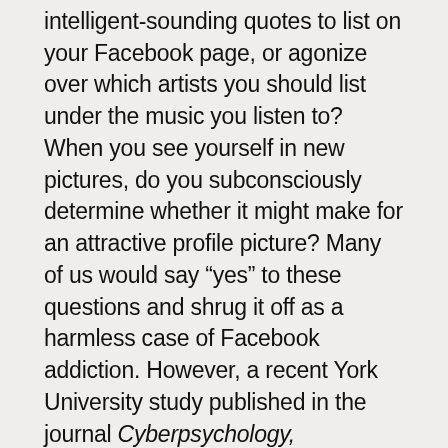intelligent-sounding quotes to list on your Facebook page, or agonize over which artists you should list under the music you listen to? When you see yourself in new pictures, do you subconsciously determine whether it might make for an attractive profile picture? Many of us would say “yes” to these questions and shrug it off as a harmless case of Facebook addiction. However, a recent York University study published in the journal Cyberpsychology, Behaviour, and Social Networking discovered an interesting link between the number of times a day students check their Facebook and their level of narcissism. Researchers asked students how many times they checked their Facebook page, followed by a psychological exam to determine how attention-seeking and self-important they felt. Was there a positive connection? You bet.